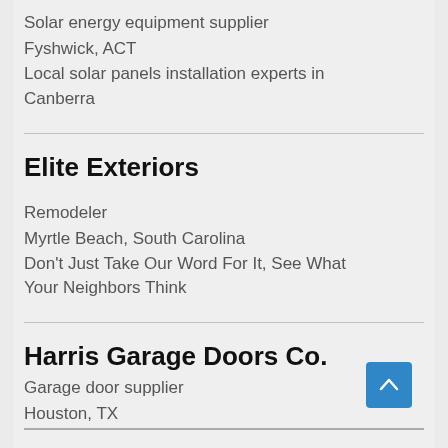Solar energy equipment supplier
Fyshwick, ACT
Local solar panels installation experts in Canberra
Elite Exteriors
Remodeler
Myrtle Beach, South Carolina
Don't Just Take Our Word For It, See What Your Neighbors Think
Harris Garage Doors Co.
Garage door supplier
Houston, TX